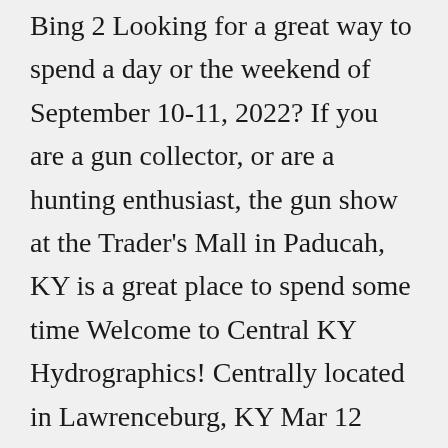Bing 2 Looking for a great way to spend a day or the weekend of September 10-11, 2022? If you are a gun collector, or are a hunting enthusiast, the gun show at the Trader's Mall in Paducah, KY is a great place to spend some time Welcome to Central KY Hydrographics! Centrally located in Lawrenceburg, KY Mar 12 Contact That's about a mile away from the shooting the night before but Kansas City Gun Show - RK Shows KCI-Expo Center